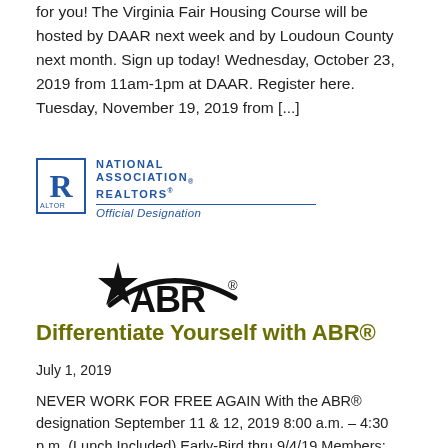for you! The Virginia Fair Housing Course will be hosted by DAAR next week and by Loudoun County next month. Sign up today! Wednesday, October 23, 2019 from 11am-1pm at DAAR. Register here. Tuesday, November 19, 2019 from [...]
[Figure (logo): National Association of Realtors® Official Designation logo with blue R in box and italic blue text]
[Figure (logo): ABR® logo with stylized star and arched text]
Differentiate Yourself with ABR®
July 1, 2019
NEVER WORK FOR FREE AGAIN With the ABR® designation September 11 & 12, 2019 8:00 a.m. – 4:30 p.m. (Lunch Included) Early-Bird thru 9/4/19 Members: $199